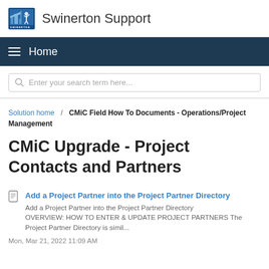Swinerton Support
Home
Enter your search term here...
Solution home / CMiC Field How To Documents - Operations/Project Management
CMiC Upgrade - Project Contacts and Partners
Add a Project Partner into the Project Partner Directory
Add a Project Partner into the Project Partner Directory OVERVIEW: HOW TO ENTER & UPDATE PROJECT PARTNERS The Project Partner Directory is simil...
Mon, Mar 21, 2022 11:09 AM